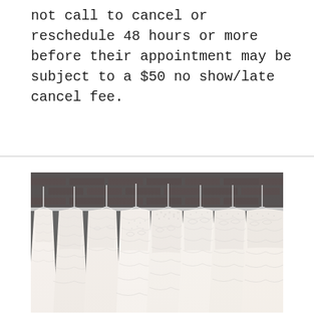not call to cancel or reschedule 48 hours or more before their appointment may be subject to a $50 no show/late cancel fee.
[Figure (photo): A row of white lace wedding dresses hanging on white hangers against a dark brick wall background. The dresses are ornate with beading and lace patterns, photographed from the front showing the bodices and upper portion of the gowns.]